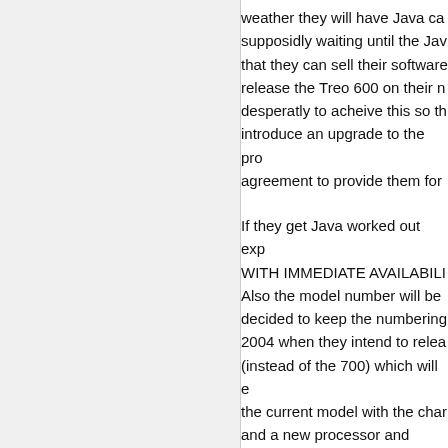weather they will have Java ca supposidly waiting until the Jav that they can sell their software release the Treo 600 on their n desperatly to acheive this so th introduce an upgrade to the pro agreement to provide them for
If they get Java worked out exp WITH IMMEDIATE AVAILABILI Also the model number will be decided to keep the numbering 2004 when they intend to relea (instead of the 700) which will e the current model with the char and a new processor and possi right side. Expect FCC pictures
<><
mykul